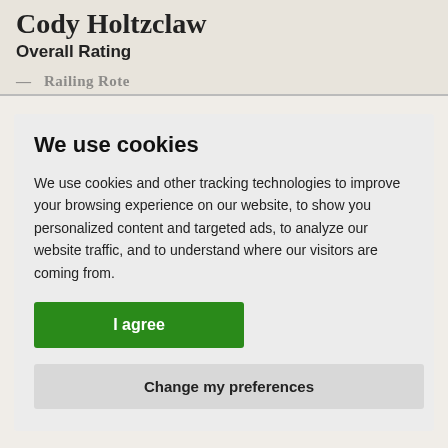Cody Holtzclaw
Overall Rating
We use cookies
We use cookies and other tracking technologies to improve your browsing experience on our website, to show you personalized content and targeted ads, to analyze our website traffic, and to understand where our visitors are coming from.
I agree
Change my preferences